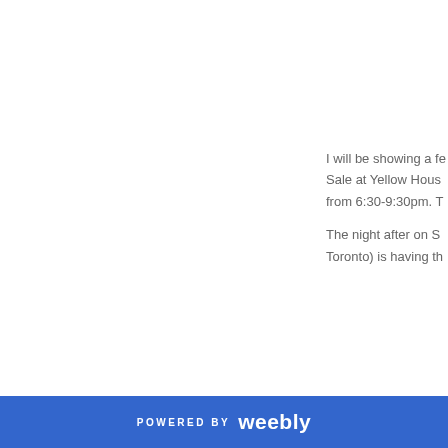I will be showing a few items for Sale at Yellow House... from 6:30-9:30pm. T...
The night after on S... Toronto) is having th...
https://www.face...
[Figure (logo): Facebook logo icon (blue square with white f)]
[Figure (illustration): Decorative watermark elements: fq text, snowflakes, arrow, and partial red letter]
POWERED BY weebly